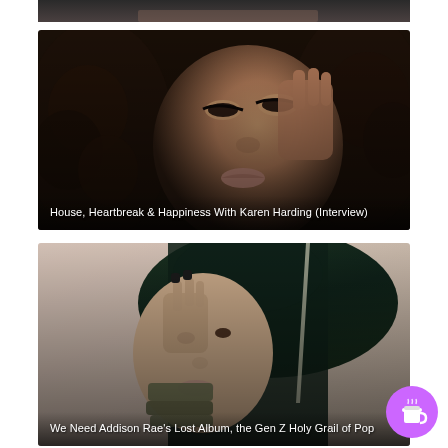[Figure (photo): Cropped top portion of a person's photo, dark background, partial view]
[Figure (photo): Close-up portrait of a woman with curly dark hair and dramatic eye makeup, hand near face, with overlay text caption]
House, Heartbreak & Happiness With Karen Harding (Interview)
[Figure (photo): Portrait of a young woman with long dark hair touching her head, wearing layered bracelets, with overlay text caption]
We Need Addison Rae's Lost Album, the Gen Z Holy Grail of Pop